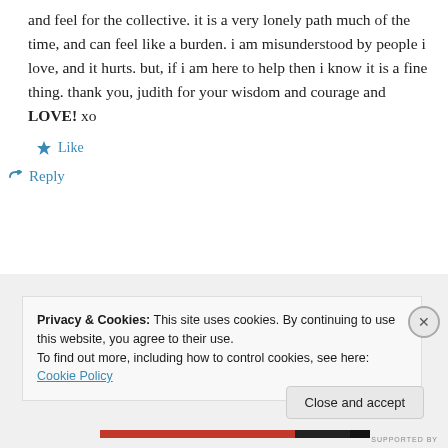and feel for the collective. it is a very lonely path much of the time, and can feel like a burden. i am misunderstood by people i love, and it hurts. but, if i am here to help then i know it is a fine thing. thank you, judith for your wisdom and courage and LOVE! xo
★ Like
↳ Reply
Privacy & Cookies: This site uses cookies. By continuing to use this website, you agree to their use.
To find out more, including how to control cookies, see here: Cookie Policy
Close and accept